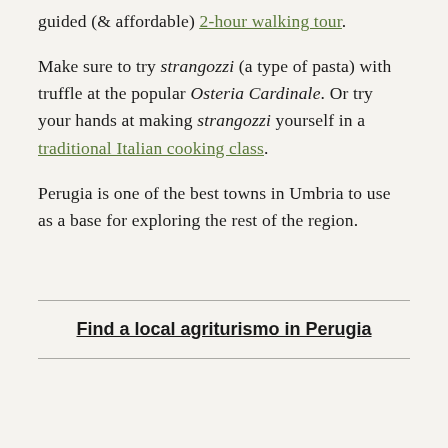guided (& affordable) 2-hour walking tour.
Make sure to try strangozzi (a type of pasta) with truffle at the popular Osteria Cardinale. Or try your hands at making strangozzi yourself in a traditional Italian cooking class.
Perugia is one of the best towns in Umbria to use as a base for exploring the rest of the region.
Find a local agriturismo in Perugia